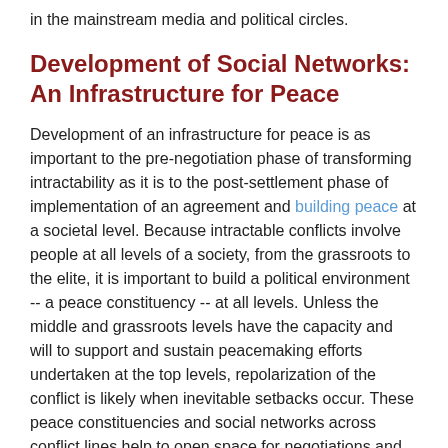in the mainstream media and political circles.
Development of Social Networks: An Infrastructure for Peace
Development of an infrastructure for peace is as important to the pre-negotiation phase of transforming intractability as it is to the post-settlement phase of implementation of an agreement and building peace at a societal level. Because intractable conflicts involve people at all levels of a society, from the grassroots to the elite, it is important to build a political environment -- a peace constituency -- at all levels. Unless the middle and grassroots levels have the capacity and will to support and sustain peacemaking efforts undertaken at the top levels, repolarization of the conflict is likely when inevitable setbacks occur. These peace constituencies and social networks across conflict lines help to open space for negotiations and minimize the effects of criticism in the process[39] ("Derailed...